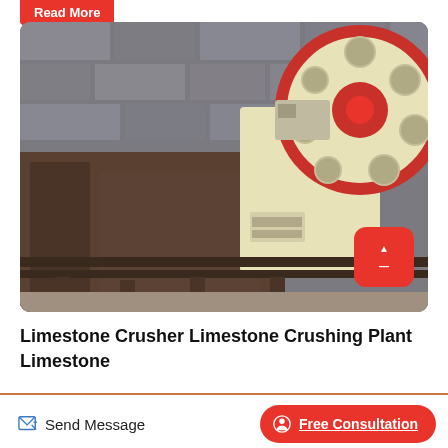Read More
[Figure (photo): A jaw crusher / limestone crushing plant machine with a large red-rimmed flywheel, cream-colored body, mounted on a rusted steel frame. Background shows a stone brick wall.]
Limestone Crusher Limestone Crushing Plant Limestone
Send Message
Free Consultation